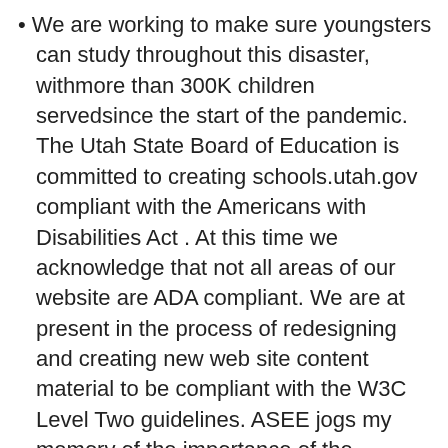• We are working to make sure youngsters can study throughout this disaster, withmore than 300K children servedsince the start of the pandemic. The Utah State Board of Education is committed to creating schools.utah.gov compliant with the Americans with Disabilities Act . At this time we acknowledge that not all areas of our website are ADA compliant. We are at present in the process of redesigning and creating new web site content material to be compliant with the W3C Level Two guidelines. ASEE jogs my memory of the importance of the academic component of this profession and that there's a whole group of professors juggling the identical challenges that I am. ASEE has been a huge influence in serving to me study energetic learning and bettering my methods in the classroom. Also, I love that I am in a position to current